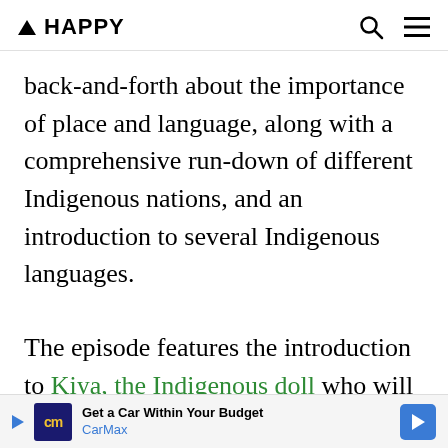▲ HAPPY
back-and-forth about the importance of place and language, along with a comprehensive run-down of different Indigenous nations, and an introduction to several Indigenous languages.
The episode features the introduction to Kiya, the Indigenous doll who will be joining the Play School cast indefinitely, alongside Australian TV legends Big Ted and
Get a Car Within Your Budget CarMax